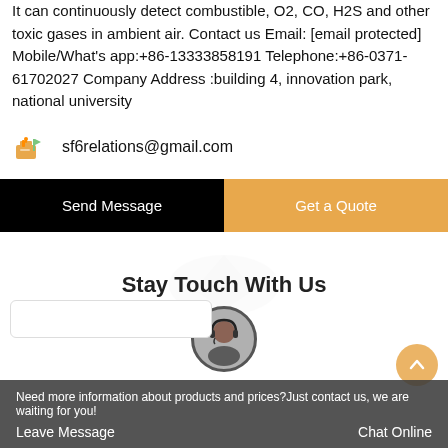It can continuously detect combustible, O2, CO, H2S and other toxic gases in ambient air. Contact us Email: [email protected] Mobile/What's app:+86-13333858191 Telephone:+86-0371-61702027 Company Address :building 4, innovation park, national university
sf6relations@gmail.com
Send Message
Get a Quote
Stay Touch With Us
Need more information about products and prices?Just contact us, we are waiting for you!
Leave Message
Chat Online